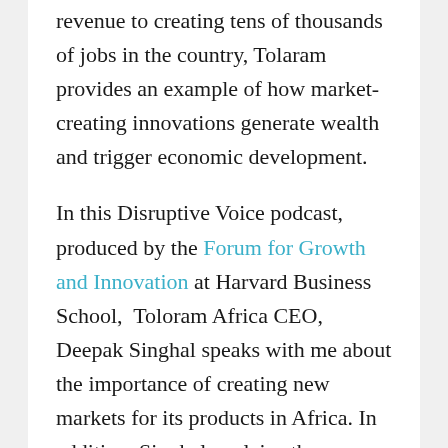revenue to creating tens of thousands of jobs in the country, Tolaram provides an example of how market-creating innovations generate wealth and trigger economic development.
In this Disruptive Voice podcast, produced by the Forum for Growth and Innovation at Harvard Business School, Toloram Africa CEO, Deepak Singhal speaks with me about the importance of creating new markets for its products in Africa. In addition, Singhal explains the process the company undertakes while they are creating a new market in a frontier or emerging market. Finally, he talks about